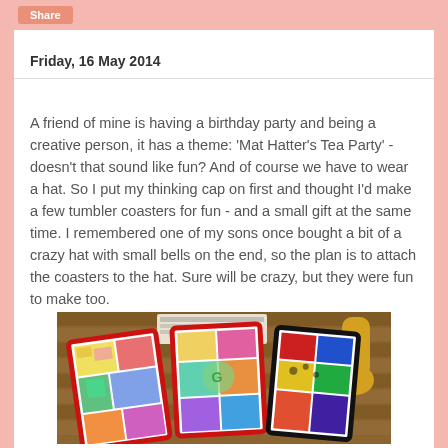Share
Friday, 16 May 2014
A friend of mine is having a birthday party and being a creative person, it has a theme: 'Mat Hatter's Tea Party' - doesn't that sound like fun? And of course we have to wear a hat. So I put my thinking cap on first and thought I'd make a few tumbler coasters for fun - and a small gift at the same time. I remembered one of my sons once bought a bit of a crazy hat with small bells on the end, so the plan is to attach the coasters to the hat. Sure will be crazy, but they were fun to make too.
[Figure (photo): Photo of colorful patchwork tumbler coasters displayed on a wooden surface, with some stuffed animals and paper packaging visible in the background. Three coasters are fanned out, two with red borders and colorful patchwork fabric, one with a black border and bold colored patches.]